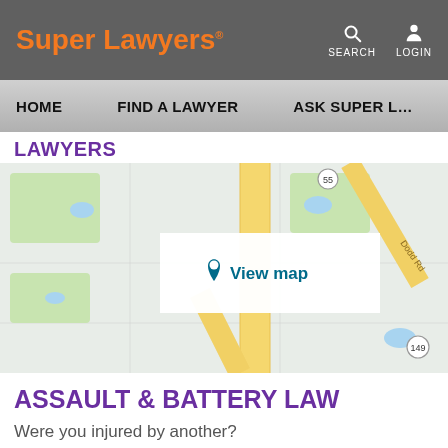Super Lawyers® — SEARCH LOGIN
HOME   FIND A LAWYER   ASK SUPER L…
LAWYERS
[Figure (map): Street map showing intersection with roads including Dodd Rd and route 149, with a 'View map' overlay button]
ASSAULT & BATTERY LAW
Were you injured by another?
Did you experience threats of harm, intimidation?